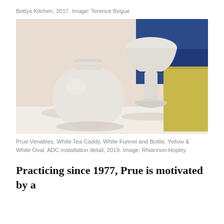Bettys Kitchen, 2017. Image: Terence Bogue
[Figure (photo): Photograph of ceramic objects including a round white tea caddy with lid, a tall white funnel and bottle form, and a yellow rectangular box/oval, arranged on a white surface with blue background. ADC Installation detail, 2019.]
Prue Venables, White Tea Caddy, White Funnel and Bottle, Yellow & White Oval. ADC Installation detail, 2019. Image: Rhiannon Hopley
Practicing since 1977, Prue is motivated by a